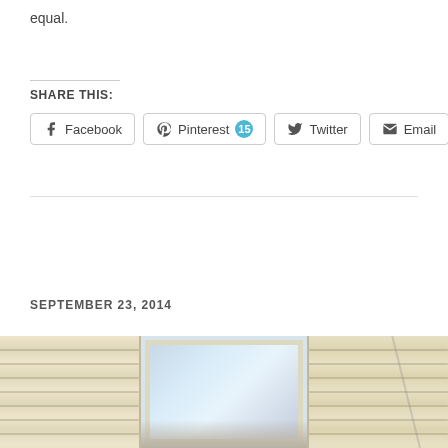equal.
SHARE THIS:
[Figure (infographic): Social share buttons for Facebook, Pinterest (15), Twitter, and Email]
SEPTEMBER 23, 2014
[Figure (photo): Three photo thumbnails showing house exterior siding and window]